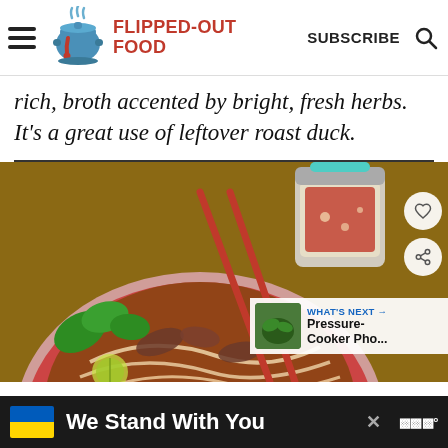FLIPPED-OUT FOOD | SUBSCRIBE
rich, broth accented by bright, fresh herbs. It's a great use of leftover roast duck.
[Figure (photo): Bowl of duck pho noodle soup with red chopsticks, fresh basil leaves, and a jar of chili sauce on a rustic background. Social share buttons and a 'What's Next: Pressure-Cooker Pho...' overlay are visible.]
We Stand With You